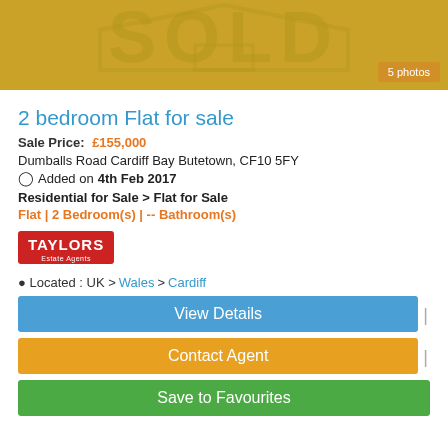[Figure (photo): Property listing image showing a golden/yellow background with a 'SOLD' watermark graphic and a '5 photos' badge in the bottom right corner]
2 bedroom Flat for sale
Sale Price: £155,000
Dumballs Road Cardiff Bay Butetown, CF10 5FY
Added on 4th Feb 2017
Residential for Sale > Flat for Sale
Flat | 2 Bedroom(s) | -- Bathroom(s)
[Figure (logo): Taylors Estate Agents logo - red background with white bold text TAYLORS and smaller text Estate Agents below]
Located : UK > Wales > Cardiff
View Details
Contact Agent
Save to Favourites